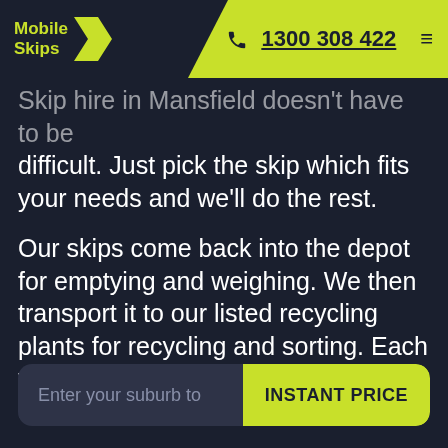Mobile Skips | 1300 308 422
Skip hire in Mansfield doesn't have to be difficult. Just pick the skip which fits your needs and we'll do the rest.
Our skips come back into the depot for emptying and weighing. We then transport it to our listed recycling plants for recycling and sorting. Each year, we are seeing 1000's of tonnes diverted from landfill.
Enter your suburb to | INSTANT PRICE